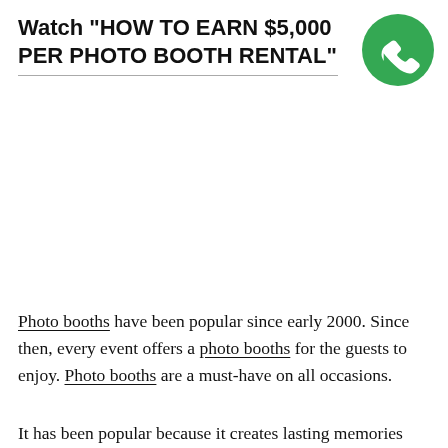Watch "HOW TO EARN $5,000 PER PHOTO BOOTH RENTAL"
[Figure (logo): Green circle with a white phone handset icon (call/contact button)]
Photo booths have been popular since early 2000. Since then, every event offers a photo booths for the guests to enjoy. Photo booths are a must-have on all occasions.
It has been popular because it creates lasting memories